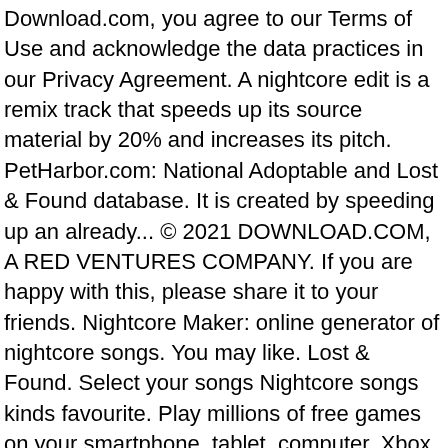Download.com, you agree to our Terms of Use and acknowledge the data practices in our Privacy Agreement. A nightcore edit is a remix track that speeds up its source material by 20% and increases its pitch. PetHarbor.com: National Adoptable and Lost & Found database. It is created by speeding up an already... © 2021 DOWNLOAD.COM, A RED VENTURES COMPANY. If you are happy with this, please share it to your friends. Nightcore Maker: online generator of nightcore songs. You may like. Lost & Found. Select your songs Nightcore songs kinds favourite. Play millions of free games on your smartphone, tablet, computer, Xbox One, Oculus Rift, and more. There is no better way to train your brain than against our fiendish word masters. Welcome to the official Fisher-Price® site! The app is right for you nightcore music enthusiast. [Ohys Raws] Toaru Kagaku no Railgun T (BD 1280x720 x264 AAC) torrent download, InfoHash EFB46141DB60ABD3932642F46083909B5A370D4D. MP3 MP4 〚Nightcore〛→ Truth Or Dare ( Switching Vocals ) || Lyrics